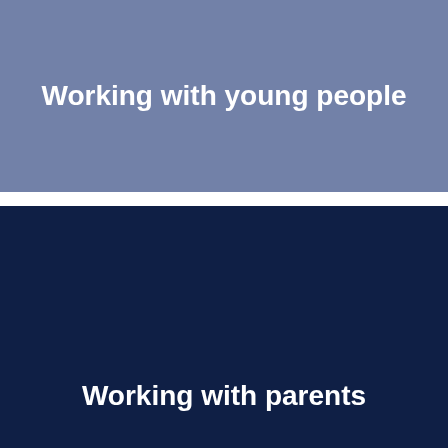Working with young people
Working with parents